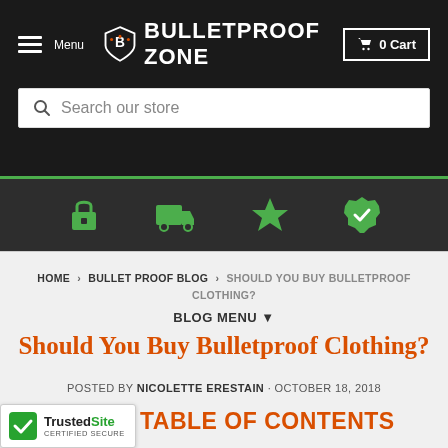Menu | BULLETPROOF ZONE | 0 Cart
Search our store
[Figure (infographic): Four green icons: padlock, delivery truck, star, verified checkmark badge]
HOME › BULLET PROOF BLOG › SHOULD YOU BUY BULLETPROOF CLOTHING?
BLOG MENU ▾
Should You Buy Bulletproof Clothing?
POSTED BY NICOLETTE ERESTAIN · OCTOBER 18, 2018
TABLE OF CONTENTS
[Figure (logo): TrustedSite certified secure badge with green checkmark]